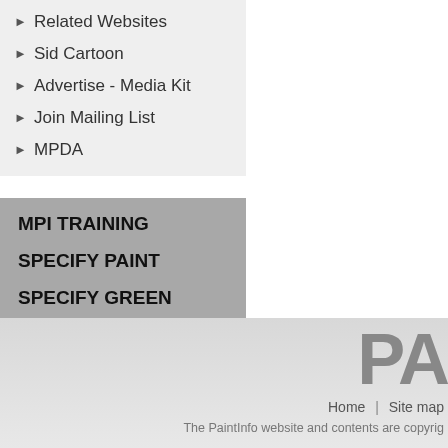Related Websites
Sid Cartoon
Advertise - Media Kit
Join Mailing List
MPDA
MPI TRAINING
SPECIFY PAINT
SPECIFY GREEN
MPI APL
MPI STORE
Home | Site map
The PaintInfo website and contents are copyright